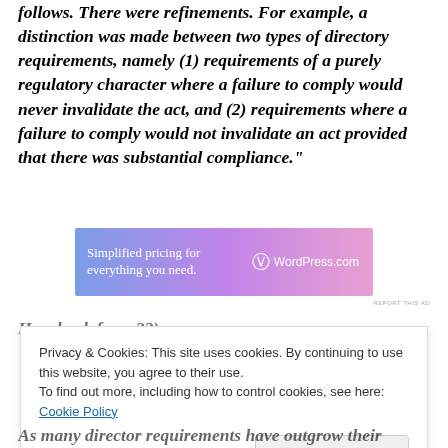follows. There were refinements. For example, a distinction was made between two types of directory requirements, namely (1) requirements of a purely regulatory character where a failure to comply would never invalidate the act, and (2) requirements where a failure to comply would not invalidate an act provided that there was substantial compliance."
[Figure (other): WordPress.com advertisement banner: 'Simplified pricing for everything you need.' with WordPress logo and WordPress.com text on a purple-pink gradient background.]
REPORT THIS AD
Privacy & Cookies: This site uses cookies. By continuing to use this website, you agree to their use. To find out more, including how to control cookies, see here: Cookie Policy
Close and accept
As many director requirements have outgrown their